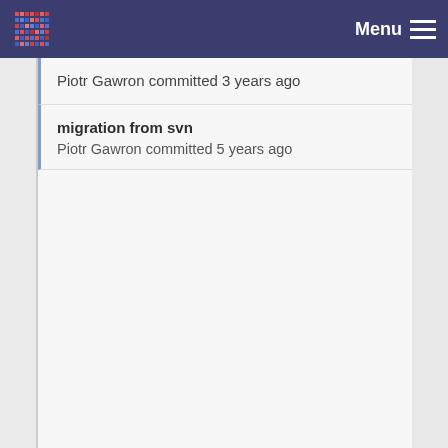Menu
Piotr Gawron committed 3 years ago
migration from svn
Piotr Gawron committed 5 years ago